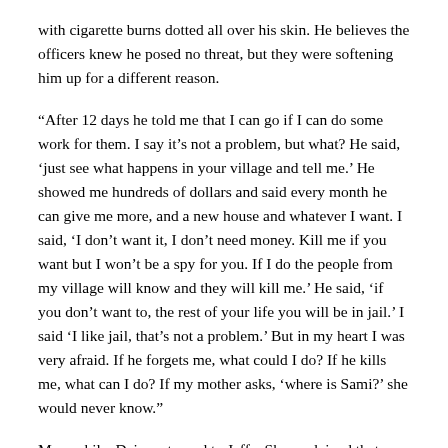with cigarette burns dotted all over his skin. He believes the officers knew he posed no threat, but they were softening him up for a different reason.
“After 12 days he told me that I can go if I can do some work for them. I say it’s not a problem, but what? He said, ‘just see what happens in your village and tell me.’ He showed me hundreds of dollars and said every month he can give me more, and a new house and whatever I want. I said, ‘I don’t want it, I don’t need money. Kill me if you want but I won’t be a spy for you. If I do the people from my village will know and they will kill me.’ He said, ‘if you don’t want to, the rest of your life you will be in jail.’ I said ‘I like jail, that’s not a problem.’ But in my heart I was very afraid. If he forgets me, what could I do? If he kills me, what can I do? If my mother asks, ‘where is Sami?’ she would never know.”
Meanwhile, Daisy returned to Jaffa. She explained that despite “many phone calls, talking with Sami’s family and